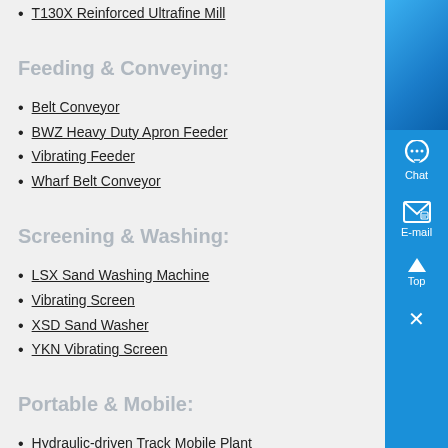T130X Reinforced Ultrafine Mill
Feeding & Conveying:
Belt Conveyor
BWZ Heavy Duty Apron Feeder
Vibrating Feeder
Wharf Belt Conveyor
Screening & Washing:
LSX Sand Washing Machine
Vibrating Screen
XSD Sand Washer
YKN Vibrating Screen
Portable & Mobile:
Hydraulic-driven Track Mobile Plant
K Series Mobile Crushing Plant
Mobile Cone Crusher
Mobile Impact Crusher